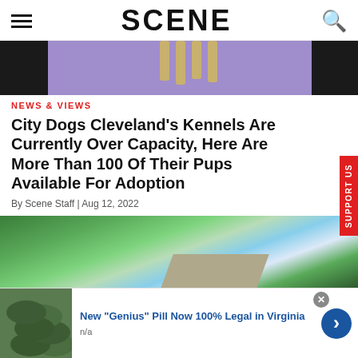SCENE
[Figure (photo): Dog paws/legs visible from above on a purple/lavender background, with dark border strips on left and right]
NEWS & VIEWS
City Dogs Cleveland's Kennels Are Currently Over Capacity, Here Are More Than 100 Of Their Pups Available For Adoption
By Scene Staff | Aug 12, 2022
[Figure (photo): Outdoor photo showing lush green trees, blue sky with white clouds, and corner of a building/shelter roof]
[Figure (photo): Advertisement banner: image of green/dark oval pills on left; text reads New "Genius" Pill Now 100% Legal in Virginia, n/a; blue arrow button on right; close X button]